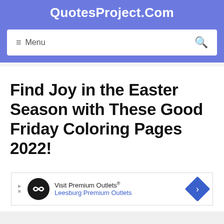QuotesProject.Com
≡ Menu
Find Joy in the Easter Season with These Good Friday Coloring Pages 2022!
[Figure (other): Advertisement banner for Visit Premium Outlets® - Leesburg Premium Outlets with logo and navigation arrow]